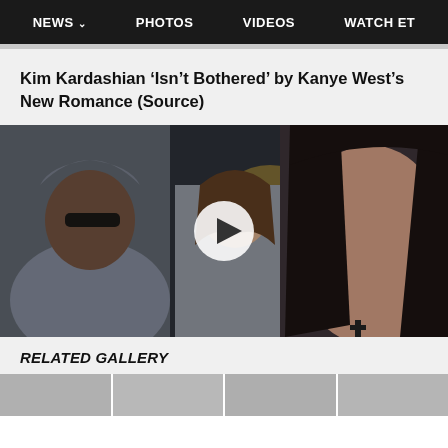NEWS  PHOTOS  VIDEOS  WATCH ET
Kim Kardashian ‘Isn’t Bothered’ by Kanye West’s New Romance (Source)
[Figure (photo): Video thumbnail showing Kanye West in a gray hoodie and sunglasses on the left, a woman in a gray athletic jacket in the center, and Kim Kardashian with dark hair and a cross necklace on the right. A white circular play button is overlaid in the center of the image.]
RELATED GALLERY